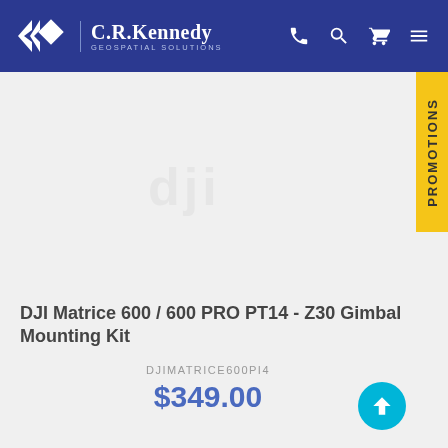C.R. Kennedy GEOSPATIAL SOLUTIONS
[Figure (logo): DJI logo watermark, light gray, centered in product image area]
DJI Matrice 600 / 600 PRO PT14 - Z30 Gimbal Mounting Kit
DJIMATRICE600PI4
$349.00